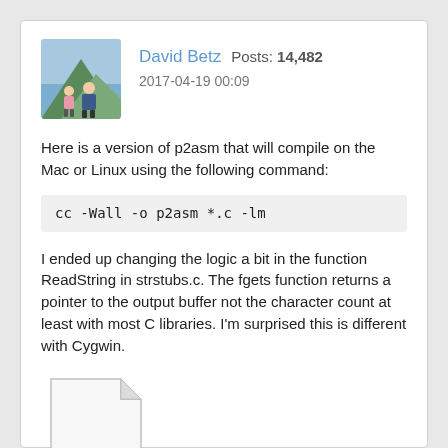David Betz   Posts: 14,482
2017-04-19 00:09
Here is a version of p2asm that will compile on the Mac or Linux using the following command:
I ended up changing the logic a bit in the function ReadString in strstubs.c. The fgets function returns a pointer to the output buffer not the character count at least with most C libraries. I'm surprised this is different with Cygwin.
[Figure (illustration): ZIP file attachment icon with folded corner and ZIP label]